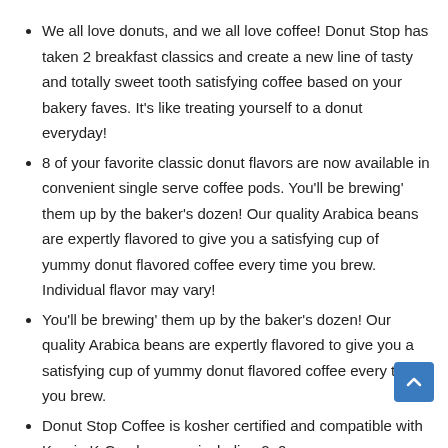We all love donuts, and we all love coffee! Donut Stop has taken 2 breakfast classics and create a new line of tasty and totally sweet tooth satisfying coffee based on your bakery faves. It's like treating yourself to a donut everyday!
8 of your favorite classic donut flavors are now available in convenient single serve coffee pods. You'll be brewing' them up by the baker's dozen! Our quality Arabica beans are expertly flavored to give you a satisfying cup of yummy donut flavored coffee every time you brew. Individual flavor may vary!
You'll be brewing' them up by the baker's dozen! Our quality Arabica beans are expertly flavored to give you a satisfying cup of yummy donut flavored coffee every time you brew.
Donut Stop Coffee is kosher certified and compatible with Keurig K-Cup brewers, including 2. 0.
Donut Stop Coffee is not affiliated, endorsed, or related with Keurig Dr Pepper.